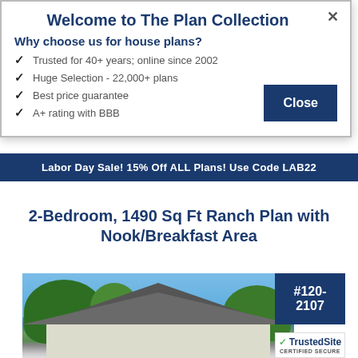Welcome to The Plan Collection
Why choose us for house plans?
Trusted for 40+ years; online since 2002
Huge Selection - 22,000+ plans
Best price guarantee
A+ rating with BBB
Close
Labor Day Sale! 15% Off ALL Plans! Use Code LAB22
2-Bedroom, 1490 Sq Ft Ranch Plan with Nook/Breakfast Area
[Figure (photo): Exterior photo of a ranch-style house with dark roof, white siding, and trees in the background. Plan badge #120-2107 overlaid in upper right.]
#120-2107
[Figure (logo): TrustedSite Certified Secure badge]